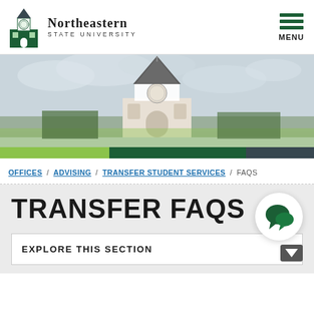[Figure (logo): Northeastern State University logo with bell tower icon and wordmark]
[Figure (photo): Hero image of a university building bell tower/steeple against a cloudy sky, with green and dark color bars at bottom]
OFFICES / ADVISING / TRANSFER STUDENT SERVICES / FAQS
TRANSFER FAQS
[Figure (illustration): Chat/speech bubble icon in a white circle]
EXPLORE THIS SECTION